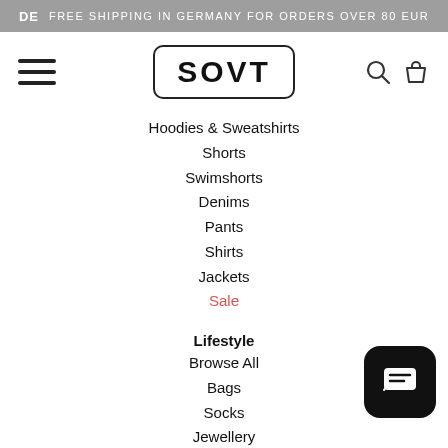DE  FREE SHIPPING IN GERMANY FOR ORDERS OVER 80 EUR
[Figure (logo): SOVT brand logo in rounded rectangle border]
Hoodies & Sweatshirts
Shorts
Swimshorts
Denims
Pants
Shirts
Jackets
Sale
Lifestyle
Browse All
Bags
Socks
Jewellery
Gin
Wine